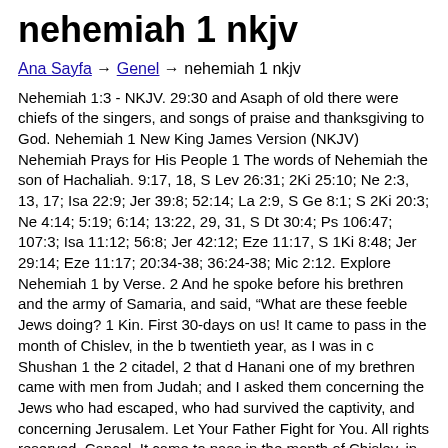nehemiah 1 nkjv
Ana Sayfa → Genel → nehemiah 1 nkjv
Nehemiah 1:3 - NKJV. 29:30 and Asaph of old there were chiefs of the singers, and songs of praise and thanksgiving to God. Nehemiah 1 New King James Version (NKJV) Nehemiah Prays for His People 1 The words of Nehemiah the son of Hachaliah. 9:17, 18, S Lev 26:31; 2Ki 25:10; Ne 2:3, 13, 17; Isa 22:9; Jer 39:8; 52:14; La 2:9, S Ge 8:1; S 2Ki 20:3; Ne 4:14; 5:19; 6:14; 13:22, 29, 31, S Dt 30:4; Ps 106:47; 107:3; Isa 11:12; 56:8; Jer 42:12; Eze 11:17, S 1Ki 8:48; Jer 29:14; Eze 11:17; 20:34-38; 36:24-38; Mic 2:12. Explore Nehemiah 1 by Verse. 2 And he spoke before his brethren and the army of Samaria, and said, “What are these feeble Jews doing? 1 Kin. First 30-days on us! It came to pass in the month of Chislev, in the b twentieth year, as I was in c Shushan 1 the 2 citadel, 2 that d Hanani one of my brethren came with men from Judah; and I asked them concerning the Jews who had escaped, who had survived the captivity, and concerning Jerusalem. Let Your Father Fight for You. All rights reserved. Cancel. It came to pass in the month of Chislev, in the (B)twentieth year, as I was in (C)Shushan[a] the [b]citadel, 2 that (D)Hanani one of my brethren came with men from Judah; and I asked them concerning the Jews who had escaped, who had survived the